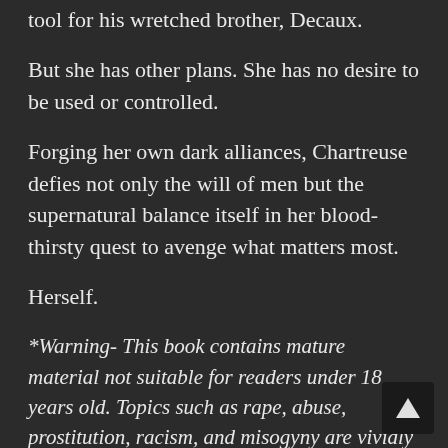tool for his wretched brother, Decaux.
But she has other plans. She has no desire to be used or controlled.
Forging her own dark alliances, Chartreuse defies not only the will of men but the supernatural balance itself in her blood-thirsty quest to avenge what matters most.
Herself.
*Warning- This book contains mature material not suitable for readers under 18 years old. Topics such as rape, abuse, prostitution, racism, and misogyny are vividly depicted in this book and may trigger